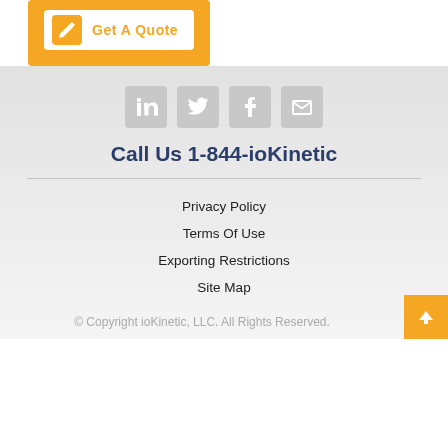[Figure (screenshot): Orange 'Get A Quote' button with pencil icon on white background inside orange container]
[Figure (infographic): Four social media icons in gray rounded squares: LinkedIn, Twitter, Facebook, Email]
Call Us 1-844-ioKinetic
Privacy Policy
Terms Of Use
Exporting Restrictions
Site Map
© Copyright ioKinetic, LLC. All Rights Reserved.